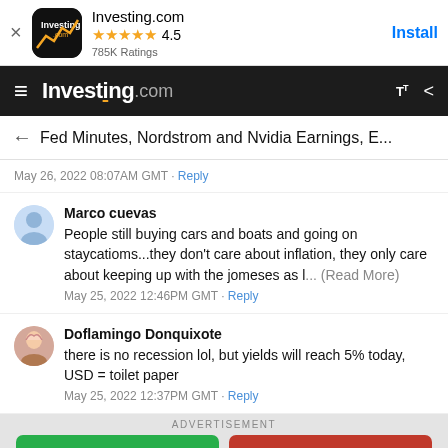[Figure (screenshot): App store banner for Investing.com with app icon, star rating 4.5, 785K Ratings, and Install button]
Investing.com navigation bar with hamburger menu, logo, text size and share icons
Fed Minutes, Nordstrom and Nvidia Earnings, E...
May 26, 2022 08:07AM GMT · Reply
Marco cuevas
People still buying cars and boats and going on staycatioms...they don't care about inflation, they only care about keeping up with the jomeses as l... (Read More)
May 25, 2022 12:46PM GMT · Reply
Doflamingo Donquixote
there is no recession lol, but yields will reach 5% today, USD = toilet paper
May 25, 2022 12:37PM GMT · Reply
ADVERTISEMENT
Buy | Sell
| AD |